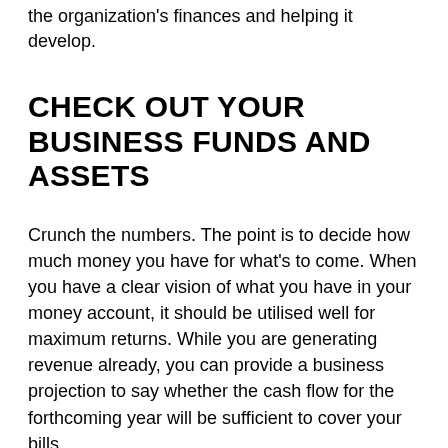the organization's finances and helping it develop.
CHECK OUT YOUR BUSINESS FUNDS AND ASSETS
Crunch the numbers. The point is to decide how much money you have for what's to come. When you have a clear vision of what you have in your money account, it should be utilised well for maximum returns. While you are generating revenue already, you can provide a business projection to say whether the cash flow for the forthcoming year will be sufficient to cover your bills.
In case the organisation's accessible money and projected income can't cover costs for the following